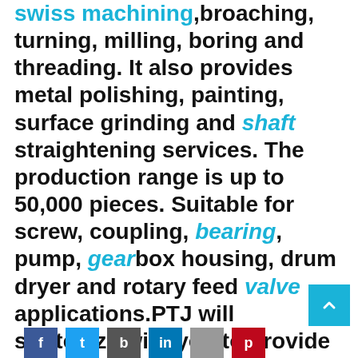swiss machining,broaching, turning, milling, boring and threading. It also provides metal polishing, painting, surface grinding and shaft straightening services. The production range is up to 50,000 pieces. Suitable for screw, coupling, bearing, pump, gearbox housing, drum dryer and rotary feed valve applications.PTJ will strategize with you to provide the most cost-effective services to help you reach your target,Welcome to Contact us ( sales@pintejin.com ) directly for your new project.